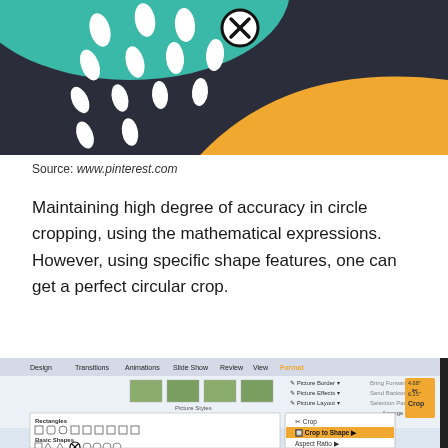[Figure (illustration): Decorative abstract image with dark navy background, white oval dots pattern, teal curved shape at top, and large orange/yellow curved shape at bottom right. Has a circled X icon overlay.]
Source: www.pinterest.com
Maintaining high degree of accuracy in circle cropping, using the mathematical expressions. However, using specific shape features, one can get a perfect circular crop.
[Figure (screenshot): Screenshot of Microsoft PowerPoint Format ribbon showing Picture Styles, Arrange group, and a Crop dropdown menu with options: Crop, Crop to Shape (highlighted), Aspect Ratio, Fit. Below shows Rectangles and Basic Shapes panels with a circled X icon.]